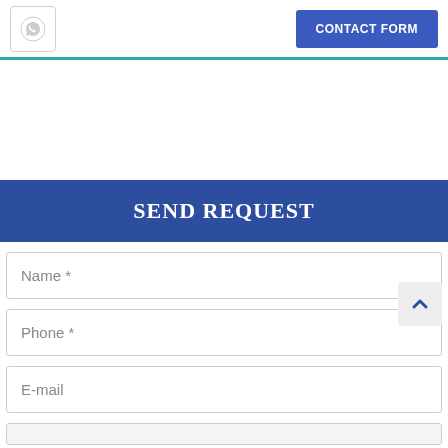CONTACT FORM
SEND REQUEST
Name *
Phone *
E-mail